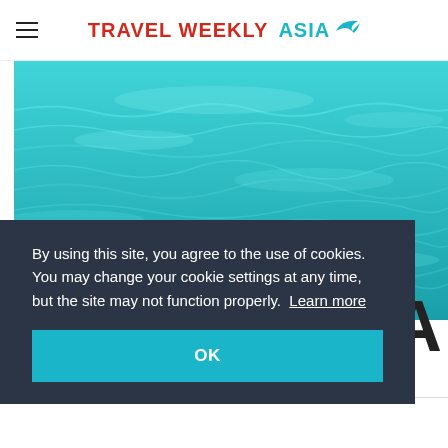TRAVEL WEEKLY ASIA
[Figure (photo): Aerial or close-up view of turquoise ocean water with gentle waves and ripples, clear tropical sea.]
By using this site, you agree to the use of cookies. You may change your cookie settings at any time, but the site may not function properly. Learn more
OK